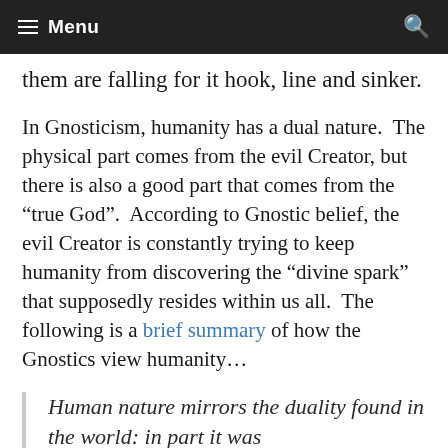Menu
them are falling for it hook, line and sinker.
In Gnosticism, humanity has a dual nature.  The physical part comes from the evil Creator, but there is also a good part that comes from the “true God”.  According to Gnostic belief, the evil Creator is constantly trying to keep humanity from discovering the “divine spark” that supposedly resides within us all.  The following is a brief summary of how the Gnostics view humanity…
Human nature mirrors the duality found in the world: in part it was